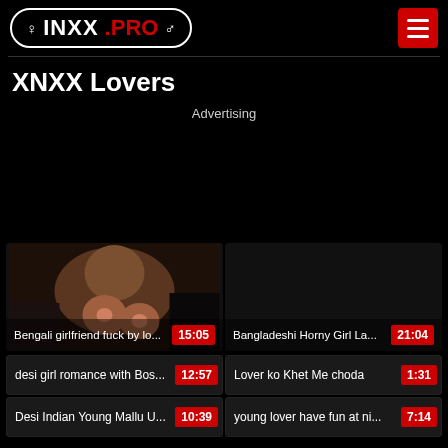♀ INXX .PRO ♂
XNXX Lovers
Advertising
[Figure (photo): Video thumbnail showing a person lying down]
Bengali girlfriend fuck by lo... 15:05
Bangladeshi Horny Girl La... 21:04
desi girl romance with Bos... 12:57
Lover ko Khet Me choda 1:31
Desi Indian Young Mallu U... 10:39
young lover have fun at ni... 7:14